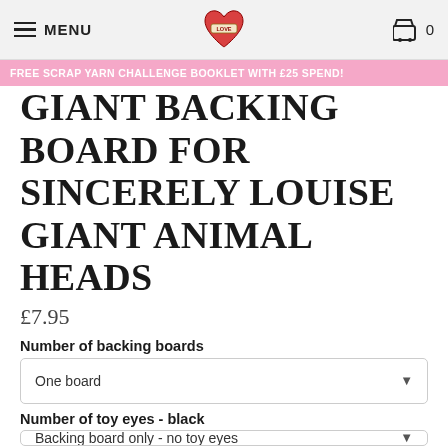MENU  [logo]  0
FREE SCRAP YARN CHALLENGE BOOKLET WITH £25 SPEND!
GIANT BACKING BOARD FOR SINCERELY LOUISE GIANT ANIMAL HEADS
£7.95
Number of backing boards
One board
Number of toy eyes - black
Backing board only - no toy eyes